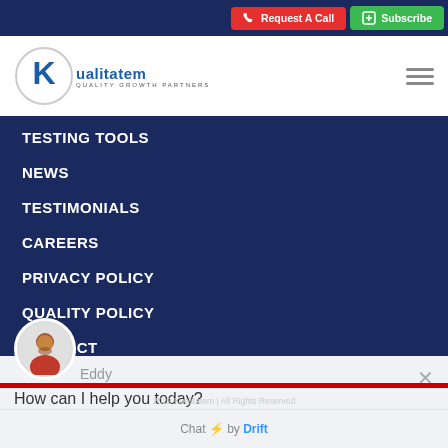[Figure (screenshot): Kualitatem website screenshot showing navigation menu, chat widget overlay with Eddy avatar, and header with Request A Call and Subscribe buttons]
TESTING TOOLS
NEWS
TESTIMONIALS
CAREERS
PRIVACY POLICY
QUALITY POLICY
CONTACT
Eddy
How can I help you today?
Reply to Eddy
2022 Kualitatem | All Rights Reserved
Chat ⚡ by Drift